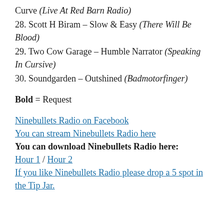Curve (Live At Red Barn Radio)
28. Scott H Biram – Slow & Easy (There Will Be Blood)
29. Two Cow Garage – Humble Narrator (Speaking In Cursive)
30. Soundgarden – Outshined (Badmotorfinger)
Bold = Request
Ninebullets Radio on Facebook
You can stream Ninebullets Radio here
You can download Ninebullets Radio here:
Hour 1 / Hour 2
If you like Ninebullets Radio please drop a 5 spot in the Tip Jar.